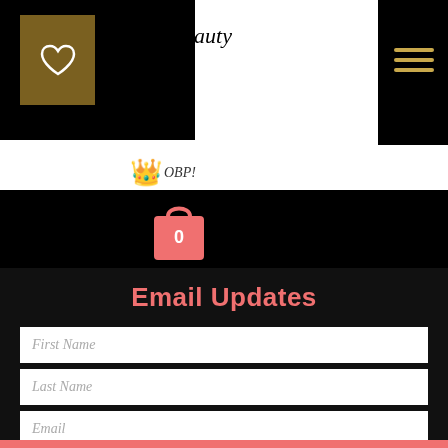[Figure (logo): Queen Beauty Podcast logo with heart icon on dark gold background, script text, and hamburger menu icon on black background]
[Figure (logo): Crown emoji with OBP! cursive text]
[Figure (illustration): Shopping bag icon in coral/salmon color with number 0 on it, on black bar]
Email Updates
First Name
Last Name
Email